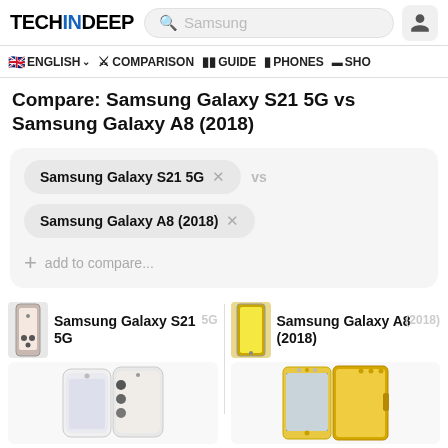TECHINDEEP — Samsung (search) — user icon
ENGLISH ∨  COMPARISON  GUIDE  PHONES  SHO
Compare: Samsung Galaxy S21 5G vs Samsung Galaxy A8 (2018)
Samsung Galaxy S21 5G × VS
Samsung Galaxy A8 (2018) ×
+ add to compare...
Samsung Galaxy S21 5G  Samsung Galaxy A8 (2018)